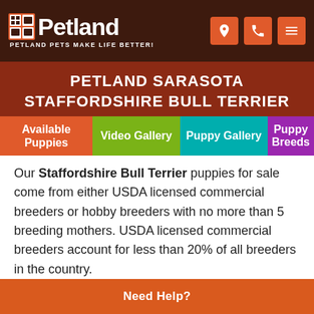Petland — PETLAND PETS MAKE LIFE BETTER!
PETLAND SARASOTA STAFFORDSHIRE BULL TERRIER
Available Puppies | Video Gallery | Puppy Gallery | Puppy Breeds
Our Staffordshire Bull Terrier puppies for sale come from either USDA licensed commercial breeders or hobby breeders with no more than 5 breeding mothers. USDA licensed commercial breeders account for less than 20% of all breeders in the country.
The unregulated breeders who are selling outside of the USDA regulations and without a license are what we consider to be “Puppy Mills.” We are committed to offering Staffordshire Bull Terrier puppies who will grow up to become important members of your family. We only
Need Help?